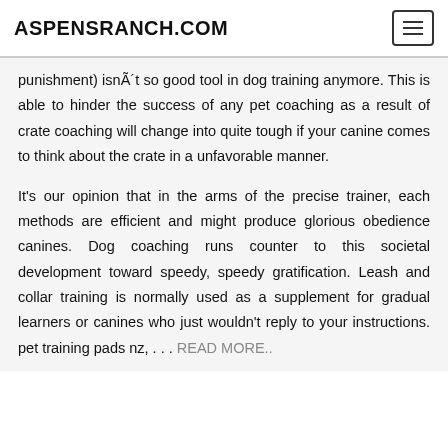ASPENSRANCH.COM
punishment) isnÃ´t so good tool in dog training anymore. This is able to hinder the success of any pet coaching as a result of crate coaching will change into quite tough if your canine comes to think about the crate in a unfavorable manner.
It's our opinion that in the arms of the precise trainer, each methods are efficient and might produce glorious obedience canines. Dog coaching runs counter to this societal development toward speedy, speedy gratification. Leash and collar training is normally used as a supplement for gradual learners or canines who just wouldn't reply to your instructions. pet training pads nz, . . . READ MORE..